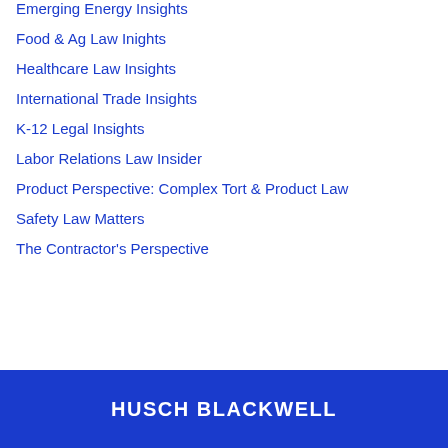Emerging Energy Insights
Food & Ag Law Inights
Healthcare Law Insights
International Trade Insights
K-12 Legal Insights
Labor Relations Law Insider
Product Perspective: Complex Tort & Product Law
Safety Law Matters
The Contractor's Perspective
HUSCH BLACKWELL